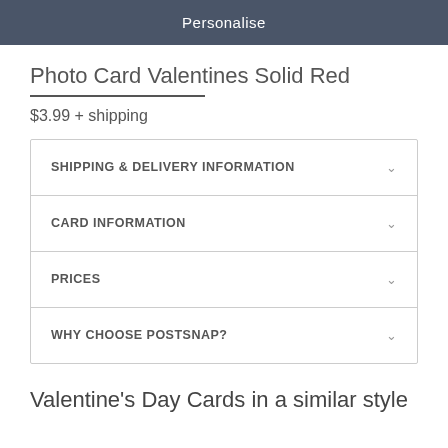Personalise
Photo Card Valentines Solid Red
$3.99 + shipping
SHIPPING & DELIVERY INFORMATION
CARD INFORMATION
PRICES
WHY CHOOSE POSTSNAP?
Valentine's Day Cards in a similar style